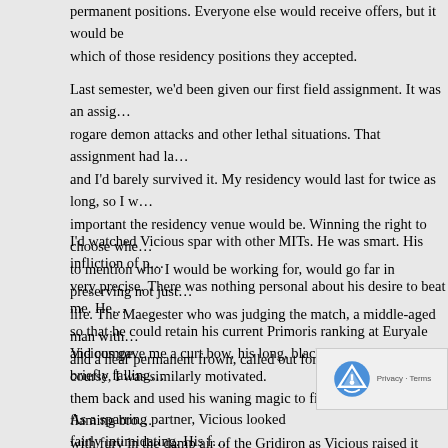permanent positions. Everyone else would receive offers, but it would be based on which of those residency positions they accepted.
Last semester, we'd been given our first field assignment. It was an assignment involving rogare demon attacks and other lethal situations. That assignment had lasted two weeks, and I'd barely survived it. My residency would last for twice as long, so I was acutely aware of how important the residency venue would be. Winning the right to choose where I'd be stationed, not to mention who I would be working for, would go far in preserving not just my ranking but my life. The Maegester who was judging the match, a middle-aged man with a receding hairline and a near permanent frown, called out for us to begin.
I'd watched Vicious spar with other MITs. He was smart. His infliction of pain was calculated, very precise. There was nothing personal about his desire to beat me. He needed to win so that he could retain his current Primoris ranking at Euryale and compete for top positions. Of course, I was similarly motivated.
Vicious gave me a curt bow, his long, black, razor-cut bangs briefly falling over his eyes. He swept them back and used his waning magic to fire up a weapon, a flaming broadsword that crackled with fury in the damp air of the Gridiron as Vicious raised it toward me in a silent challenge.
As a sparring partner, Vicious looked fairly intimidating. His front teeth were fake and slightly pointed (likely, his real ones had been knocked out in fights)